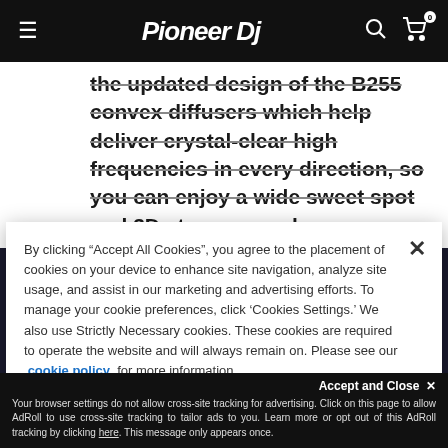Pioneer DJ
the updated design of the B255 convex diffusers which help deliver crystal-clear high frequencies in every direction, so you can enjoy a wide sweet spot and 3D stereo sound
By clicking “Accept All Cookies”, you agree to the placement of cookies on your device to enhance site navigation, analyze site usage, and assist in our marketing and advertising efforts. To manage your cookie preferences, click ‘Cookies Settings.’ We also use Strictly Necessary cookies. These cookies are required to operate the website and will always remain on. Please see our cookie policy for more information.
Cookies Settings
Reject All
Accept and Close ×
Your browser settings do not allow cross-site tracking for advertising. Click on this page to allow AdRoll to use cross-site tracking to tailor ads to you. Learn more or opt out of this AdRoll tracking by clicking here. This message only appears once.